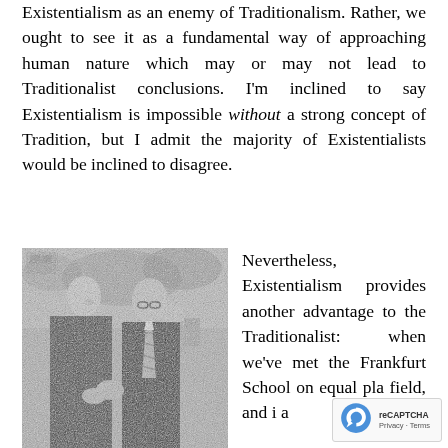Existentialism as an enemy of Traditionalism. Rather, we ought to see it as a fundamental way of approaching human nature which may or may not lead to Traditionalist conclusions. I'm inclined to say Existentialism is impossible without a strong concept of Tradition, but I admit the majority of Existentialists would be inclined to disagree.
[Figure (photo): Black and white photograph of two older men in suits conversing outdoors, with other people visible in the background.]
Nevertheless, Existentialism provides another advantage to the Traditionalist: when we've met the Frankfurt School on equal playing field, and in a...